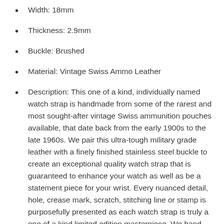Width: 18mm
Thickness: 2.9mm
Buckle: Brushed
Material: Vintage Swiss Ammo Leather
Description: This one of a kind, individually named watch strap is handmade from some of the rarest and most sought-after vintage Swiss ammunition pouches available, that date back from the early 1900s to the late 1960s. We pair this ultra-tough military grade leather with a finely finished stainless steel buckle to create an exceptional quality watch strap that is guaranteed to enhance your watch as well as be a statement piece for your wrist. Every nuanced detail, hole, crease mark, scratch, stitching line or stamp is purposefully presented as each watch strap is truly a one of a kind limited edition masterpiece. We hand stitch every strap using the strongest